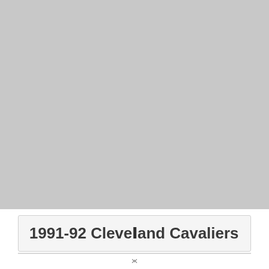[Figure (photo): Large grey placeholder image area occupying the upper portion of the page]
1991-92 Cleveland Cavaliers